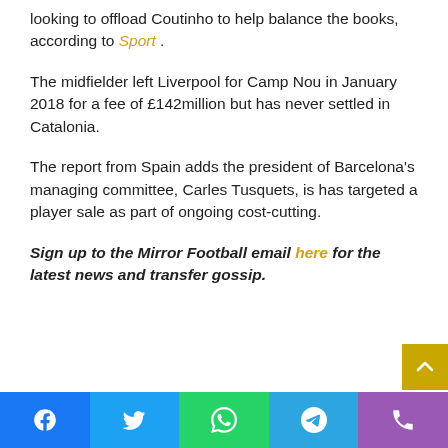looking to offload Coutinho to help balance the books, according to Sport .
The midfielder left Liverpool for Camp Nou in January 2018 for a fee of £142million but has never settled in Catalonia.
The report from Spain adds the president of Barcelona's managing committee, Carles Tusquets, is has targeted a player sale as part of ongoing cost-cutting.
Sign up to the Mirror Football email here for the latest news and transfer gossip.